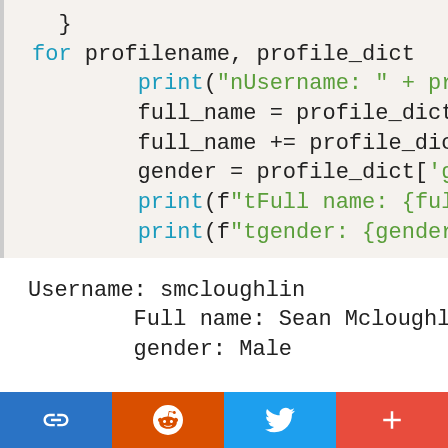}
    for profilename, profile_dict
        print("nUsername: " + pro
        full_name = profile_dict[
        full_name += profile_dict
        gender = profile_dict['ge
        print(f"tFull name: {full
        print(f"tgender: {gender.
Username: smcloughlin
	Full name: Sean Mcloughlin
	gender: Male

Username: prezende
	Full name: Pedro Prezende